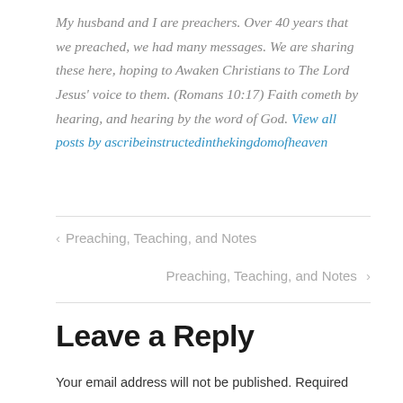My husband and I are preachers. Over 40 years that we preached, we had many messages. We are sharing these here, hoping to Awaken Christians to The Lord Jesus' voice to them. (Romans 10:17) Faith cometh by hearing, and hearing by the word of God. View all posts by ascribeinstructedinthekingdomofheaven
‹ Preaching, Teaching, and Notes
Preaching, Teaching, and Notes ›
Leave a Reply
Your email address will not be published. Required